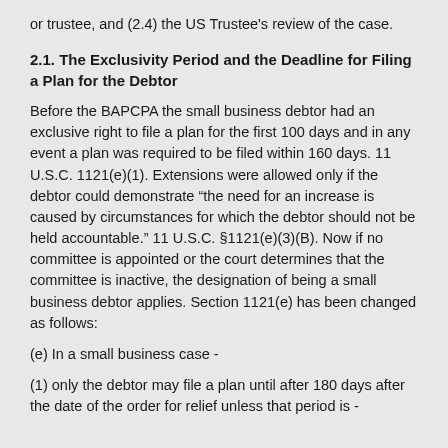or trustee, and (2.4) the US Trustee's review of the case.
2.1. The Exclusivity Period and the Deadline for Filing a Plan for the Debtor
Before the BAPCPA the small business debtor had an exclusive right to file a plan for the first 100 days and in any event a plan was required to be filed within 160 days. 11 U.S.C. 1121(e)(1). Extensions were allowed only if the debtor could demonstrate “the need for an increase is caused by circumstances for which the debtor should not be held accountable.” 11 U.S.C. §1121(e)(3)(B). Now if no committee is appointed or the court determines that the committee is inactive, the designation of being a small business debtor applies. Section 1121(e) has been changed as follows:
(e) In a small business case -
(1) only the debtor may file a plan until after 180 days after the date of the order for relief unless that period is -